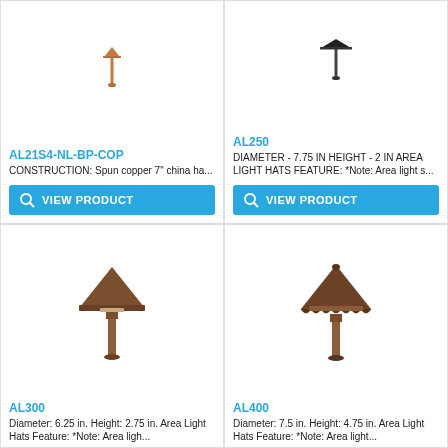[Figure (photo): Copper area light hat product image - AL21S4-NL-BP-COP, narrow copper stake light]
AL21S4-NL-BP-COP
CONSTRUCTION: Spun copper 7" china ha...
VIEW PRODUCT
[Figure (photo): Black area light hat product image - AL250]
AL250
DIAMETER - 7.75 IN HEIGHT - 2 IN AREA LIGHT HATS FEATURE: *Note: Area light s...
VIEW PRODUCT
[Figure (photo): Bronze conical area light hat on stake - AL300]
AL300
Diameter: 6.25 in. Height: 2.75 in.  Area Light Hats Feature: *Note: Area ligh...
[Figure (photo): Dark bronze decorative conical area light hat with scalloped edge on stake - AL400]
AL400
Diameter: 7.5 in. Height: 4.75 in.  Area Light Hats Feature: *Note: Area light...